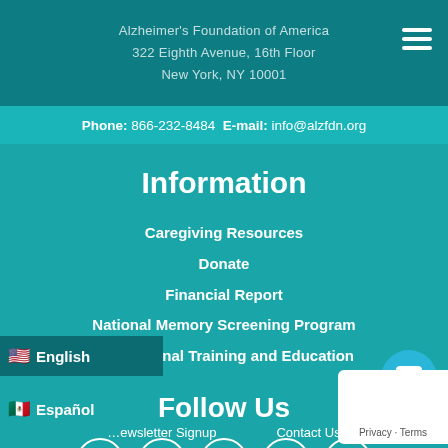Alzheimer's Foundation of America
322 Eighth Avenue, 16th Floor
New York, NY 10001
Phone: 866-232-8484  E-mail: info@alzfdn.org
Information
Caregiving Resources
Donate
Financial Report
National Memory Screening Program
Professional Training and Education
Follow Us
[Figure (infographic): Row of 5 white circular social media icons: Facebook, Twitter, LinkedIn, YouTube, Instagram]
English
Español
...ewsletter Signup    Contact Us